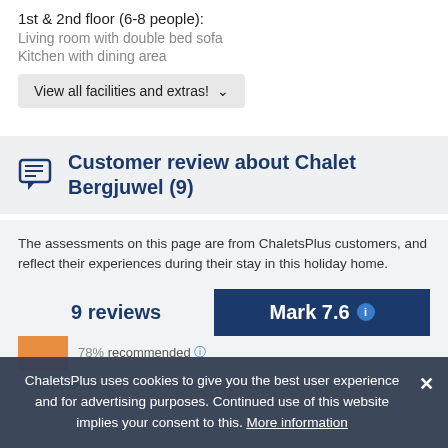1st & 2nd floor (6-8 people):
Living room with double bed sofa
Kitchen with dining area
View all facilities and extras!
Customer review about Chalet Bergjuwel (9)
The assessments on this page are from ChaletsPlus customers, and reflect their experiences during their stay in this holiday home.
9 reviews
Mark 7.6
78% recommended
General rating
Comfort
ChaletsPlus uses cookies to give you the best user experience and for advertising purposes. Continued use of this website implies your consent to this. More information